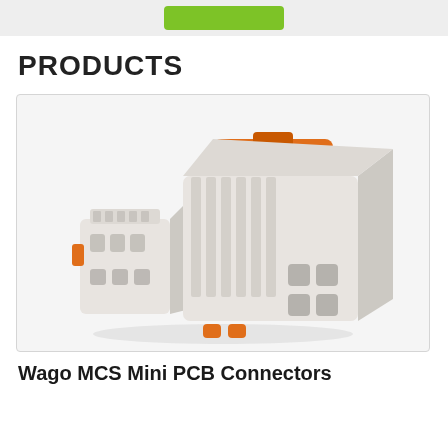[Figure (other): Green button/banner at top of page]
PRODUCTS
[Figure (photo): Photo of Wago MCS Mini PCB Connectors - white/gray plastic connectors with orange levers, shown in two sizes side by side on white background]
Wago MCS Mini PCB Connectors